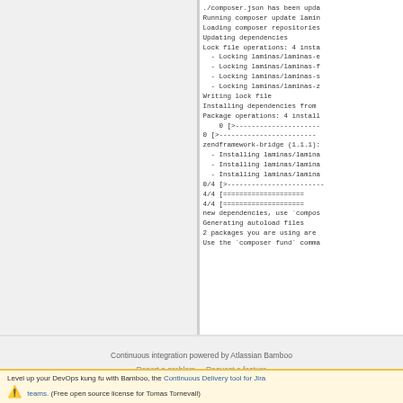[Figure (screenshot): Terminal/console output showing composer update process installing laminas dependencies]
Continuous integration powered by Atlassian Bamboo
Report a problem · Request a feature
Level up your DevOps kung fu with Bamboo, the Continuous Delivery tool for Jira teams. (Free open source license for Tomas Tornevall)